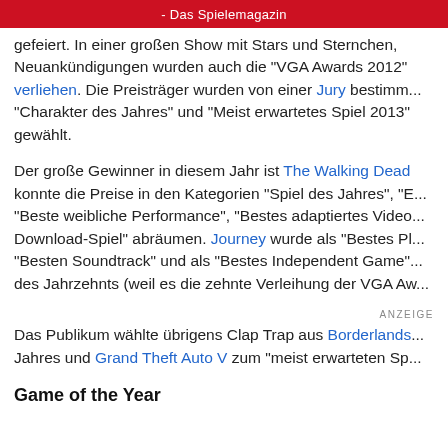- Das Spielemagazin
gefeiert. In einer großen Show mit Stars und Sternchen, Neuankündigungen wurden auch die "VGA Awards 2012" verliehen. Die Preisträger wurden von einer Jury bestimmt, "Charakter des Jahres" und "Meist erwartetes Spiel 2013" gewählt.
Der große Gewinner in diesem Jahr ist The Walking Dead konnte die Preise in den Kategorien "Spiel des Jahres", "E... "Beste weibliche Performance", "Bestes adaptiertes Video... Download-Spiel" abräumen. Journey wurde als "Bestes Pl... "Besten Soundtrack" und als "Bestes Independent Game'... des Jahrzehnts (weil es die zehnte Verleihung der VGA Aw...
ANZEIGE
Das Publikum wählte übrigens Clap Trap aus Borderlands... Jahres und Grand Theft Auto V zum "meist erwarteten Sp...
Game of the Year